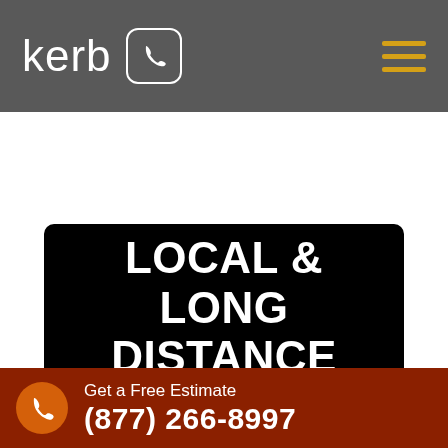kerb
LOCAL & LONG DISTANCE MOVERS
GET A QUOTE
SHOULD I SEND MOVING
Get a Free Estimate (877) 266-8997